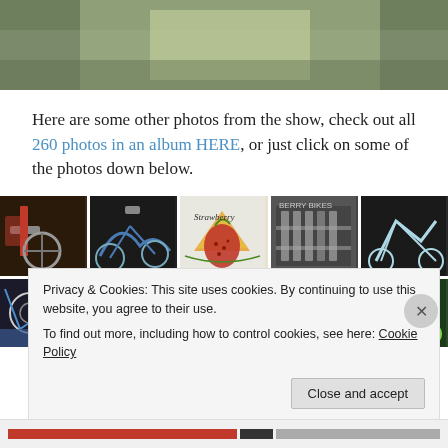[Figure (photo): Partial photo of green/olive colored bicycle or object, cropped at top of page]
Here are some other photos from the show, check out all 260 photos in an album HERE, or just click on some of the photos down below.
[Figure (photo): Grid of 5 thumbnail photos of bicycles and bicycle parts from a show, top row]
[Figure (photo): Grid of 5 thumbnail photos of bicycles and bicycle parts from a show, bottom row (partially visible)]
Privacy & Cookies: This site uses cookies. By continuing to use this website, you agree to their use.
To find out more, including how to control cookies, see here: Cookie Policy